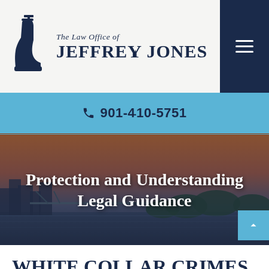The Law Office of JEFFREY JONES
901-410-5751
[Figure (photo): Aerial view of a city at dusk with a river and bridge, used as hero background image]
Protection and Understanding Legal Guidance
WHITE COLLAR CRIMES DEFENSE THROUGHOUT